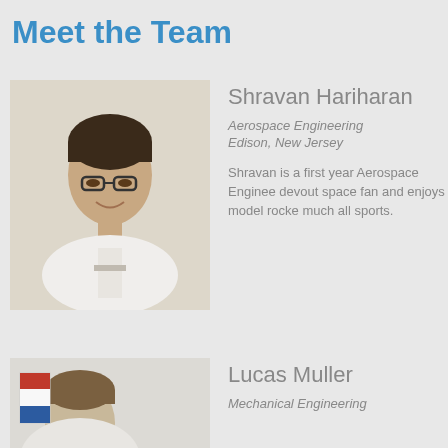Meet the Team
[Figure (photo): Headshot of Shravan Hariharan, a young man with glasses wearing a white shirt, smiling]
Shravan Hariharan
Aerospace Engineering
Edison, New Jersey
Shravan is a first year Aerospace Engineer. devout space fan and enjoys model rocke much all sports.
[Figure (photo): Headshot of Lucas Muller with a rocket visible in the background]
Lucas Muller
Mechanical Engineering